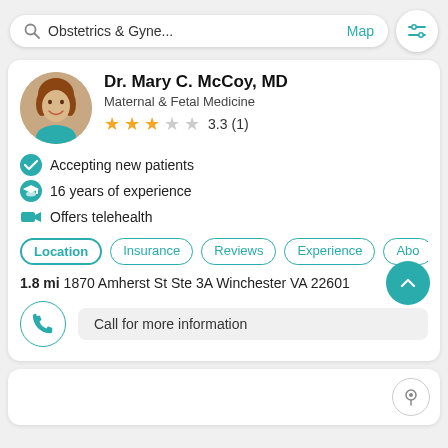Obstetrics & Gyne... Map
Dr. Mary C. McCoy, MD
Maternal & Fetal Medicine
3.3 (1)
Accepting new patients
16 years of experience
Offers telehealth
Location | Insurance | Reviews | Experience | Abo
1.8 mi 1870 Amherst St Ste 3A Winchester VA 22601
Call for more information